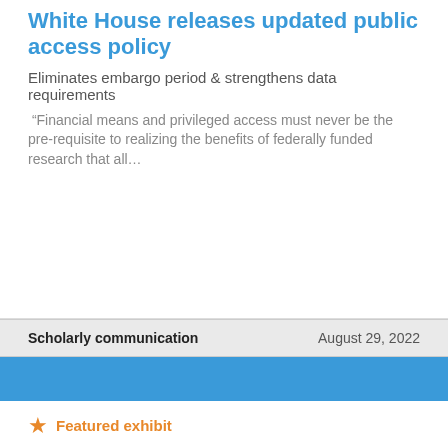White House releases updated public access policy
Eliminates embargo period & strengthens data requirements
“Financial means and privileged access must never be the pre-requisite to realizing the benefits of federally funded research that all…
Scholarly communication
August 29, 2022
Featured exhibit
The Wanderverse Project: A collaborative poetry treasure hunt game